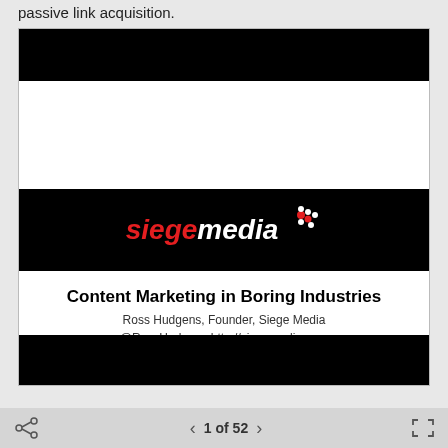passive link acquisition.
[Figure (screenshot): Slide presentation screenshot showing Siege Media logo on black background with title 'Content Marketing in Boring Industries' by Ross Hudgens, Founder, Siege Media]
1 of 52